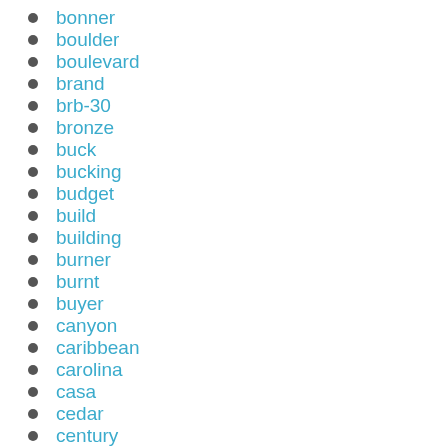bonner
boulder
boulevard
brand
brb-30
bronze
buck
bucking
budget
build
building
burner
burnt
buyer
canyon
caribbean
carolina
casa
cedar
century